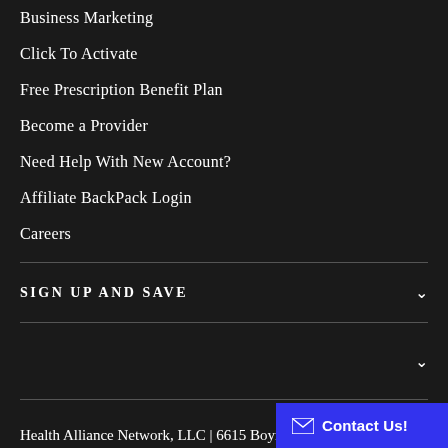Business Marketing
Click To Activate
Free Prescription Benefit Plan
Become a Provider
Need Help With New Account?
Affiliate BackPack Login
Careers
SIGN UP AND SAVE
Health Alliance Network, LLC | 6615 Boynton Beach Blvd Suite #181 Boynton B…
Contact Us!